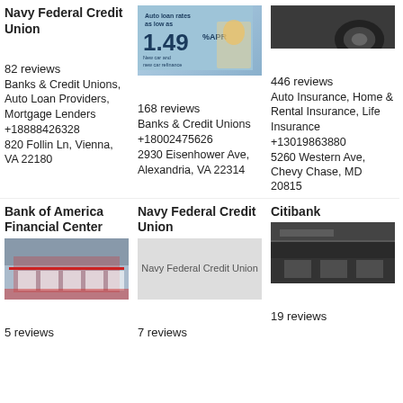Navy Federal Credit Union
[Figure (illustration): Star rating: 2 out of 5 stars (orange filled)]
82 reviews
Banks & Credit Unions, Auto Loan Providers, Mortgage Lenders
+18888426328
820 Follin Ln, Vienna, VA 22180
[Figure (photo): Auto loan ad: rates as low as 1.49% APR, New car and new car refinance]
[Figure (illustration): Star rating: 2 out of 5 stars (orange filled)]
168 reviews
Banks & Credit Unions
+18002475626
2930 Eisenhower Ave, Alexandria, VA 22314
[Figure (photo): Partial photo of a car wheel/tire (dark background)]
[Figure (illustration): Star rating: 1 out of 5 stars (orange filled)]
446 reviews
Auto Insurance, Home & Rental Insurance, Life Insurance
+13019863880
5260 Western Ave, Chevy Chase, MD 20815
Bank of America Financial Center
[Figure (photo): Street-facing photo of Bank of America Financial Center branch]
[Figure (illustration): Star rating: 2 out of 5 stars (orange filled)]
5 reviews
Navy Federal Credit Union
[Figure (photo): Navy Federal Credit Union placeholder image with text]
[Figure (illustration): Star rating: 2 out of 5 stars (orange filled)]
7 reviews
Citibank
[Figure (photo): Interior photo of Citibank branch (dark)]
[Figure (illustration): Star rating: 1 out of 5 stars (orange filled)]
19 reviews